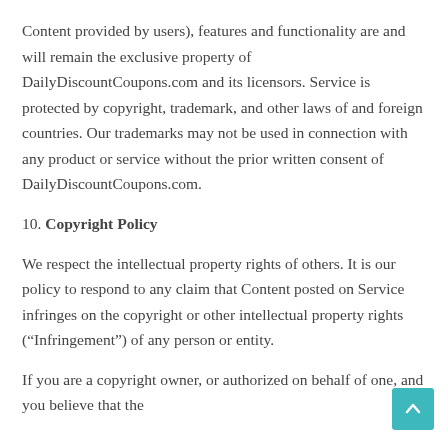Content provided by users), features and functionality are and will remain the exclusive property of DailyDiscountCoupons.com and its licensors. Service is protected by copyright, trademark, and other laws of and foreign countries. Our trademarks may not be used in connection with any product or service without the prior written consent of DailyDiscountCoupons.com.
10. Copyright Policy
We respect the intellectual property rights of others. It is our policy to respond to any claim that Content posted on Service infringes on the copyright or other intellectual property rights (“Infringement”) of any person or entity.
If you are a copyright owner, or authorized on behalf of one, and you believe that the